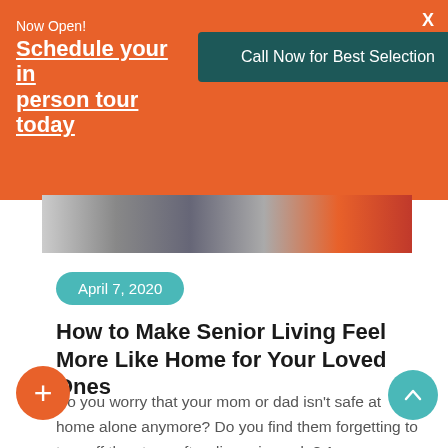Now Open!
Schedule your in person tour today
Call Now for Best Selection
April 7, 2020
How to Make Senior Living Feel More Like Home for Your Loved Ones
Do you worry that your mom or dad isn’t safe at home alone anymore? Do you find them forgetting to turn off the stove after dinner is made? Are you worried they aren’t taking all their medications correctly? Taking away your parent’s independence can be a tough decision for any family. However, offering security for aging in th…